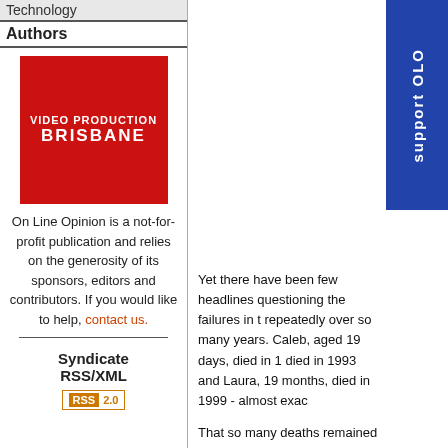Technology
Authors
[Figure (logo): Red square advertisement logo for Video Production Brisbane with white bold text]
On Line Opinion is a not-for-profit publication and relies on the generosity of its sponsors, editors and contributors. If you would like to help, contact us.
Syndicate RSS/XML
[Figure (logo): RSS 2.0 badge in orange and white]
[Figure (other): Support OLO vertical banner in blue]
Yet there have been few headlines questioning the failures in t... repeatedly over so many years. Caleb, aged 19 days, died in 1... died in 1993 and Laura, 19 months, died in 1999 - almost exac...
That so many deaths remained undetected tells us that child a... community attitude research has demonstrated. Perhaps this i... practices and policies of the Victorian Department of Human S...
Victoria appears to be heading for yet another child-protection... There are increasingly vociferous complaints from agencies th... expected to respond to unmanageable workloads. There are m... then looked. Gradually the media becomes interested. Governm...